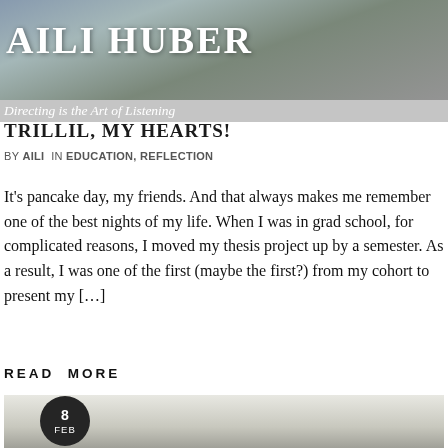[Figure (photo): Header photo showing a group of people, grayscale/dark tinted background]
AILI HUBER
Directing is the Art of Listening
TRILLIL, MY HEARTS!
BY AILI  IN EDUCATION, REFLECTION
It’s pancake day, my friends. And that always makes me remember one of the best nights of my life. When I was in grad school, for complicated reasons, I moved my thesis project up by a semester. As a result, I was one of the first (maybe the first?) from my cohort to present my […]
READ  MORE
[Figure (photo): Photo of an art gallery interior with white walls and framed works; a date badge showing 8 FEB overlaid on the bottom-left]